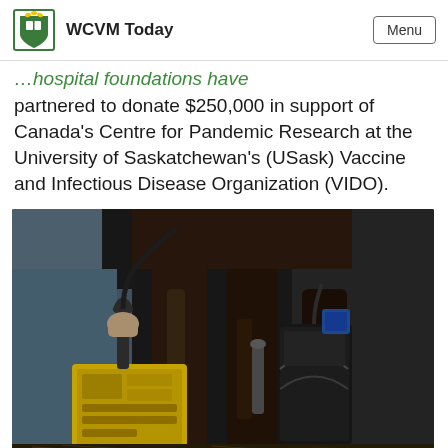WCVM Today | Menu
…hospital foundations have partnered to donate $250,000 in support of Canada's Centre for Pandemic Research at the University of Saskatchewan's (USask) Vaccine and Infectious Disease Organization (VIDO).
[Figure (photo): Close-up photo of a person holding a yellow portable scanning device next to the legs of a dark horse, with other veterinary equipment visible.]